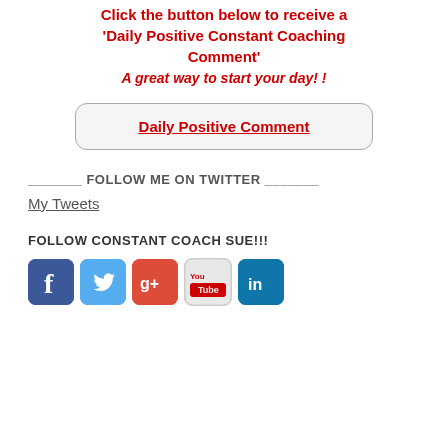Click the button below to receive a 'Daily Positive Constant Coaching Comment' A great way to start your day! !
Daily Positive Comment
_______ FOLLOW ME ON TWITTER _______
My Tweets
FOLLOW CONSTANT COACH SUE!!!
[Figure (other): Social media icons: Facebook, Twitter, Google+, YouTube, LinkedIn]